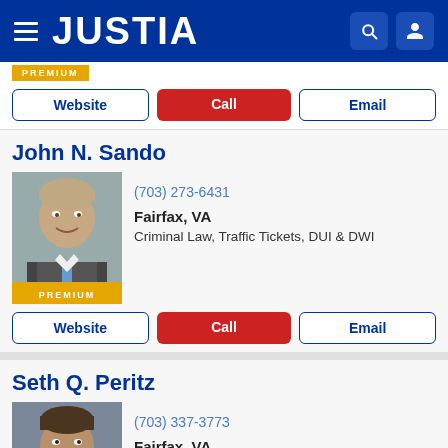JUSTIA
[Figure (screenshot): Premium badge (gold/yellow background) with white text PREMIUM]
Website | Call | Email (button row)
John N. Sando
[Figure (photo): Headshot of John N. Sando, a man in a suit and tie, smiling, with PREMIUM badge at bottom]
(703) 273-6431
Fairfax, VA
Criminal Law, Traffic Tickets, DUI & DWI
Website | Call | Email (button row)
Seth Q. Peritz
[Figure (photo): Headshot of Seth Q. Peritz, a man with beard, smiling slightly]
(703) 337-3773
Fairfax, VA